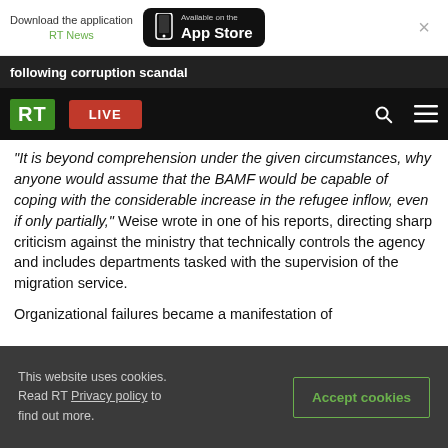[Figure (screenshot): App Store download banner with RT News link and Available on the App Store button, plus close X]
following corruption scandal
[Figure (screenshot): RT logo with green background, red LIVE button, search and menu icons on black navbar]
"It is beyond comprehension under the given circumstances, why anyone would assume that the BAMF would be capable of coping with the considerable increase in the refugee inflow, even if only partially," Weise wrote in one of his reports, directing sharp criticism against the ministry that technically controls the agency and includes departments tasked with the supervision of the migration service.
Organizational failures became a manifestation of
This website uses cookies. Read RT Privacy policy to find out more.